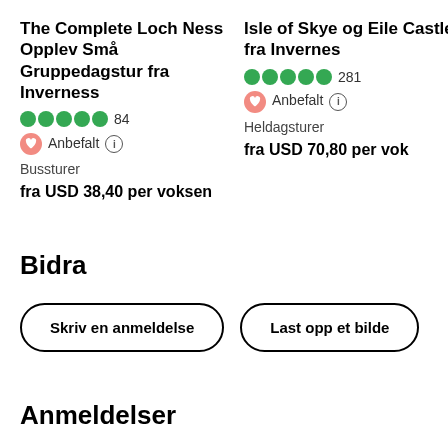The Complete Loch Ness Opplev Små Gruppedagstur fra Inverness
84 reviews, 5 stars, Anbefalt
Bussturer
fra USD 38,40 per voksen
Isle of Skye og Eile Castle fra Invernes
281 reviews, 5 stars, Anbefalt
Heldagsturer
fra USD 70,80 per vok
Bidra
Skriv en anmeldelse
Last opp et bilde
Anmeldelser